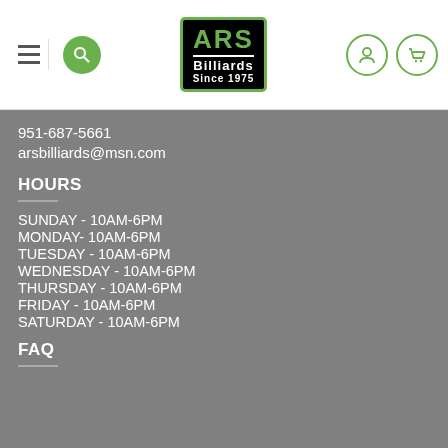[Figure (logo): ARS Billiards Since 1975 logo with green and black design]
951-687-5661
arsbilliards@msn.com
HOURS
SUNDAY - 10AM-6PM
MONDAY- 10AM-6PM
TUESDAY - 10AM-6PM
WEDNESDAY - 10AM-6PM
THURSDAY - 10AM-6PM
FRIDAY - 10AM-6PM
SATURDAY - 10AM-6PM
FAQ